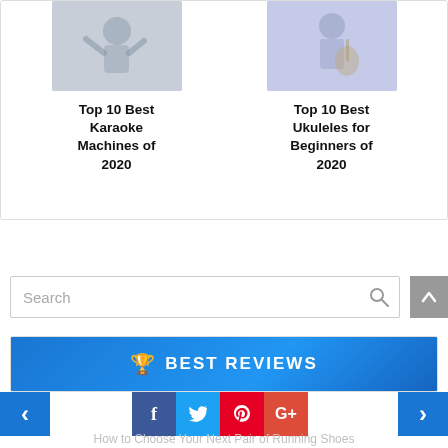[Figure (photo): Top portion of a card showing two product thumbnails: left is a person doing karaoke, right is a person with a ukulele]
Top 10 Best Karaoke Machines of 2020
Top 10 Best Ukuleles for Beginners of 2020
Search
🏆 BEST REVIEWS
How to Choose Your Next Pair of Running Shoes